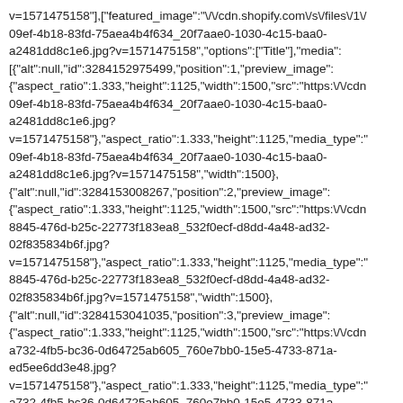v=1571475158"],["featured_image":"\/\/cdn.shopify.com\/s\/files\/1\/09ef-4b18-83fd-75aea4b4f634_20f7aae0-1030-4c15-baa0-a2481dd8c1e6.jpg?v=1571475158","options":["Title"],"media":[{"alt":null,"id":3284152975499,"position":1,"preview_image":{"aspect_ratio":1.333,"height":1125,"width":1500,"src":"https:\/\/cdn09ef-4b18-83fd-75aea4b4f634_20f7aae0-1030-4c15-baa0-a2481dd8c1e6.jpg?v=1571475158"},"aspect_ratio":1.333,"height":1125,"media_type":"09ef-4b18-83fd-75aea4b4f634_20f7aae0-1030-4c15-baa0-a2481dd8c1e6.jpg?v=1571475158","width":1500},{"alt":null,"id":3284153008267,"position":2,"preview_image":{"aspect_ratio":1.333,"height":1125,"width":1500,"src":"https:\/\/cdn8845-476d-b25c-22773f183ea8_532f0ecf-d8dd-4a48-ad32-02f835834b6f.jpg?v=1571475158"},"aspect_ratio":1.333,"height":1125,"media_type":"8845-476d-b25c-22773f183ea8_532f0ecf-d8dd-4a48-ad32-02f835834b6f.jpg?v=1571475158","width":1500},{"alt":null,"id":3284153041035,"position":3,"preview_image":{"aspect_ratio":1.333,"height":1125,"width":1500,"src":"https:\/\/cdna732-4fb5-bc36-0d64725ab605_760e7bb0-15e5-4733-871a-ed5ee6dd3e48.jpg?v=1571475158"},"aspect_ratio":1.333,"height":1125,"media_type":"a732-4fb5-bc36-0d64725ab605_760e7bb0-15e5-4733-871a-ed5ee6dd3e48.jpg?v=1571475158","width":1500},{"alt":null,"id":3284153073803,"position":4,"preview_image":